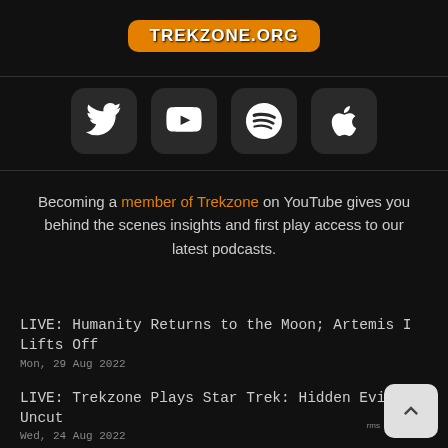[Figure (logo): Trekzone.org logo — orange rounded rectangle with white bold text TREKZONE.ORG and Star Trek delta shield above]
[Figure (infographic): Row of four social media icon buttons: Twitter, YouTube, Spotify, Apple — white icons on dark rounded square backgrounds]
Becoming a member of Trekzone on YouTube gives you behind the scenes insights and first play access to our latest podcasts.
LIVE: Humanity Returns to the Moon; Artemis I Lifts Off
Mon, 29 Aug 2022
LIVE: Trekzone Plays Star Trek: Hidden Evil : Uncut
Wed, 24 Aug 2022
Making Metal on Mars; Artemis III Landing Si...